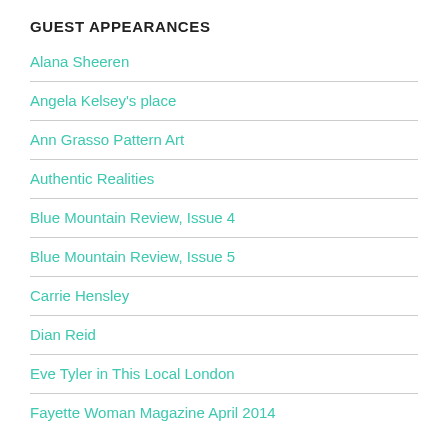GUEST APPEARANCES
Alana Sheeren
Angela Kelsey's place
Ann Grasso Pattern Art
Authentic Realities
Blue Mountain Review, Issue 4
Blue Mountain Review, Issue 5
Carrie Hensley
Dian Reid
Eve Tyler in This Local London
Fayette Woman Magazine April 2014